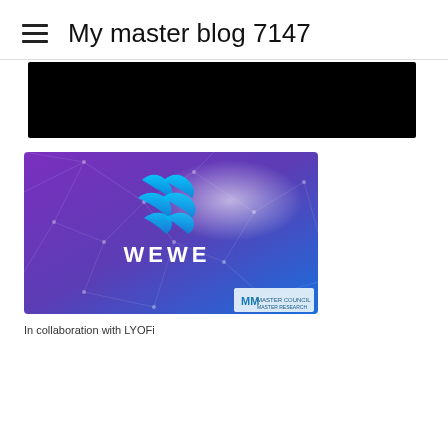My master blog 7147
[Figure (other): Black banner/header image area]
[Figure (illustration): WEWE branded image with purple and blue background, geometric network lines, cyan colored W logo, and 'WEWE' text in white. Master Council logo in bottom right corner.]
In collaboration with LYOFi